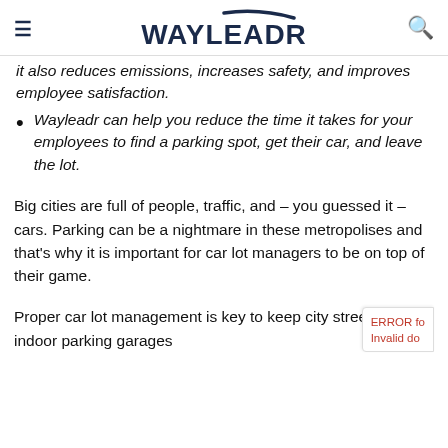WAYLEADR
It also reduces emissions, increases safety, and improves employee satisfaction.
Wayleadr can help you reduce the time it takes for your employees to find a parking spot, get their car, and leave the lot.
Big cities are full of people, traffic, and – you guessed it – cars. Parking can be a nightmare in these metropolises and that's why it is important for car lot managers to be on top of their game.
Proper car lot management is key to keep city streets and indoor parking garages running as a free and efficient flow well...